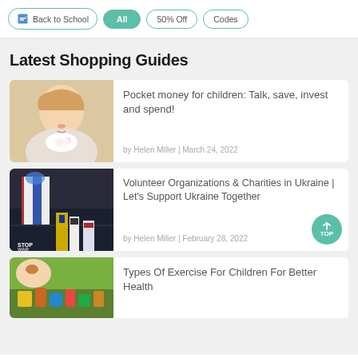Back to School | All | 50% Off | Codes
Latest Shopping Guides
[Figure (photo): Young girl holding a piggy bank]
Pocket money for children: Talk, save, invest and spend!
by Helen Miller | March 24, 2022
[Figure (photo): Protesters at a rally supporting Ukraine, holding flags and signs reading STOP WAR]
Volunteer Organizations & Charities in Ukraine | Let's Support Ukraine Together
by Helen Miller | February 28, 2022
[Figure (photo): Child playing with colorful building blocks]
Types Of Exercise For Children For Better Health